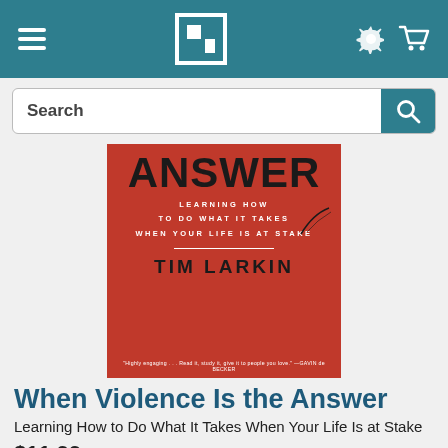HarperCollins navigation header with hamburger menu, logo, gear icon, and cart icon
[Figure (screenshot): Search bar with text 'Search' and a teal search button with magnifying glass icon]
[Figure (photo): Book cover for 'When Violence Is the Answer' by Tim Larkin. Red background with bold black title text 'ANSWER', subtitle 'LEARNING HOW TO DO WHAT IT TAKES WHEN YOUR LIFE IS AT STAKE', a horizontal white line, author name 'TIM LARKIN', and a quote at the bottom.]
When Violence Is the Answer
Learning How to Do What It Takes When Your Life Is at Stake
$11.99